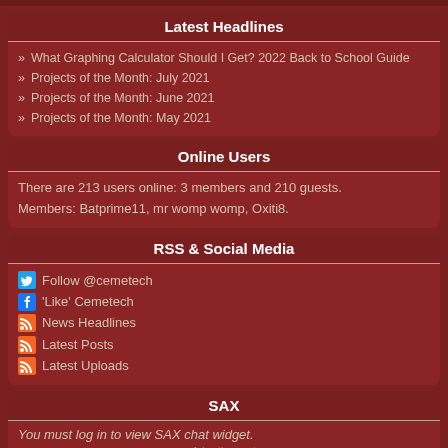Latest Headlines
What Graphing Calculator Should I Get? 2022 Back to School Guide
Projects of the Month: July 2021
Projects of the Month: June 2021
Projects of the Month: May 2021
Online Users
There are 213 users online: 3 members and 210 guests. Members: Batprime11, mr womp womp, Oxiti8.
RSS & Social Media
Follow @cemetech
'Like' Cemetech
News Headlines
Latest Posts
Latest Uploads
SAX
You must log in to view SAX chat widget.
Advertisement